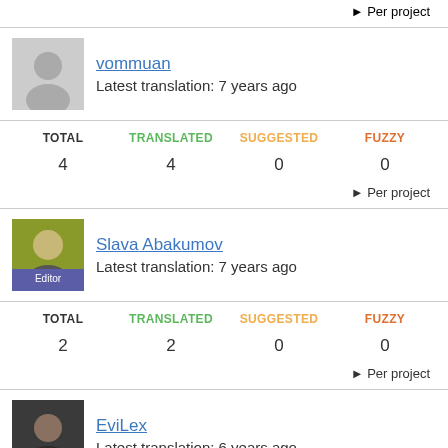► Per project
vommuan
Latest translation: 7 years ago
| TOTAL | TRANSLATED | SUGGESTED | FUZZY |
| --- | --- | --- | --- |
| 4 | 4 | 0 | 0 |
► Per project
Slava Abakumov
Latest translation: 7 years ago
| TOTAL | TRANSLATED | SUGGESTED | FUZZY |
| --- | --- | --- | --- |
| 2 | 2 | 0 | 0 |
► Per project
EviLex
Latest translation: 6 years ago